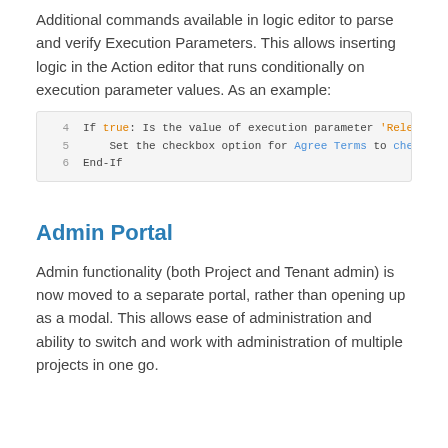Additional commands available in logic editor to parse and verify Execution Parameters. This allows inserting logic in the Action editor that runs conditionally on execution parameter values. As an example:
[Figure (screenshot): Code block showing lines 4-6: If true condition checking execution parameter 'Release' equals 'R3.4', setting checkbox for Agree Terms to checked state, End-If]
Admin Portal
Admin functionality (both Project and Tenant admin) is now moved to a separate portal, rather than opening up as a modal. This allows ease of administration and ability to switch and work with administration of multiple projects in one go.